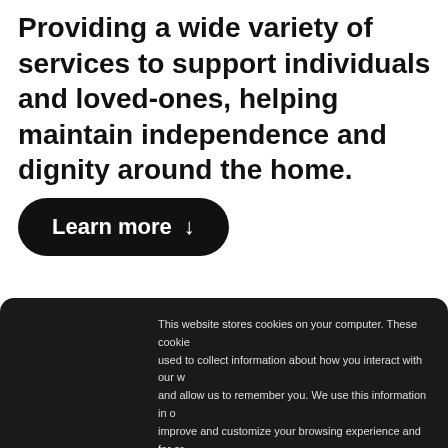Providing a wide variety of services to support individuals and loved-ones, helping maintain independence and dignity around the home.
[Figure (other): Black rounded button labeled 'Learn more' with a downward arrow]
This website stores cookies on your computer. These cookies are used to collect information about how you interact with our website and allow us to remember you. We use this information in order to improve and customize your browsing experience and for analytics and metrics about our visitors both on this website and other media. To find out more about the cookies we use, see our Privacy Policy
If you decline, your information won't be tracked when you visit this website. A single cookie will be used in your browser to remember your preference not to be tracked.
Accept  Decline